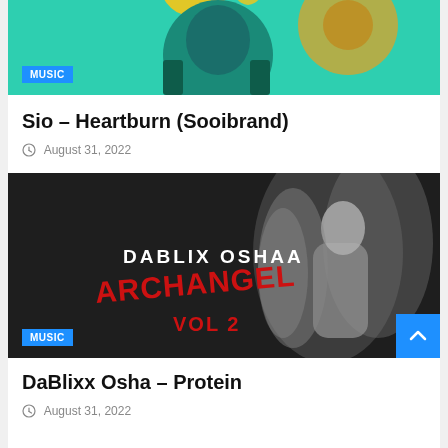[Figure (illustration): Partial view of colorful music album artwork with teal/green background and illustrated character, with a blue MUSIC badge overlay at the bottom left]
Sio – Heartburn (Sooibrand)
August 31, 2022
[Figure (photo): Album cover for Dablix Oshaa – Archangel Vol 2. Dark/black background with a classical winged angel statue on the right, text 'DABLIX OSHAA' in white and 'ARCHANGEL Vol 2' in red graffiti-style lettering on the left. Blue MUSIC badge at bottom left. Blue scroll-to-top arrow button at bottom right.]
DaBlixx Osha – Protein
August 31, 2022